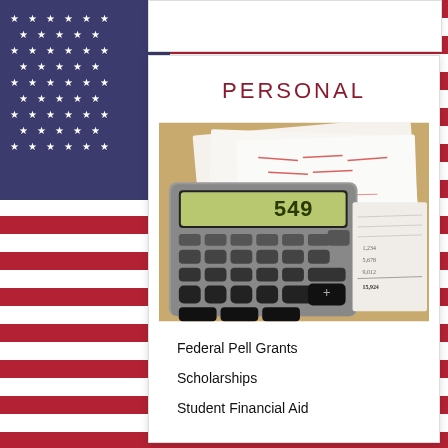PERSONAL
[Figure (photo): A calculator showing '549' on its display, resting on top of financial documents/receipts with handwritten notes and red markings.]
Federal Pell Grants
Scholarships
Student Financial Aid